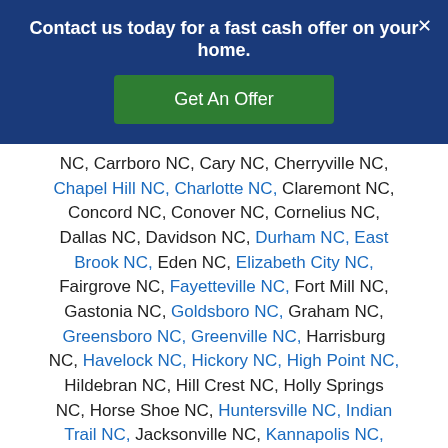Contact us today for a fast cash offer on your home.
Get An Offer
NC, Carrboro NC, Cary NC, Cherryville NC, Chapel Hill NC, Charlotte NC, Claremont NC, Concord NC, Conover NC, Cornelius NC, Dallas NC, Davidson NC, Durham NC, East Brook NC, Eden NC, Elizabeth City NC, Fairgrove NC, Fayetteville NC, Fort Mill NC, Gastonia NC, Goldsboro NC, Graham NC, Greensboro NC, Greenville NC, Harrisburg NC, Havelock NC, Hickory NC, High Point NC, Hildebran NC, Hill Crest NC, Holly Springs NC, Horse Shoe NC, Huntersville NC, Indian Trail NC, Jacksonville NC, Kannapolis NC, Kings Mountain NC, Kernersville NC, Lakeview NC, Lexington NC, Lincolnton NC,